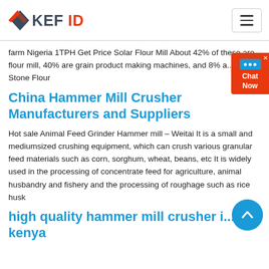KEFID logo and navigation menu
farm Nigeria 1TPH Get Price Solar Flour Mill About 42% of these are flour mill, 40% are grain product making machines, and 8% a... Tags Stone Flour
China Hammer Mill Crusher Manufacturers and Suppliers
Hot sale Animal Feed Grinder Hammer mill – Weitai It is a small and mediumsized crushing equipment, which can crush various granular feed materials such as corn, sorghum, wheat, beans, etc It is widely used in the processing of concentrate feed for agriculture, animal husbandry and fishery and the processing of roughage such as rice husk
high quality hammer mill crusher in kenya